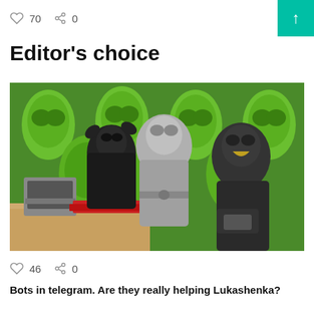♡ 70  < 0
Editor's choice
[Figure (photo): A humorous photo of monster/kaiju action figures (Godzilla and similar creatures) posed at a desk with an old computer, in front of a green illustrated background showing repeated faces.]
♡ 46  < 0
Bots in telegram. Are they really helping Lukashenka?